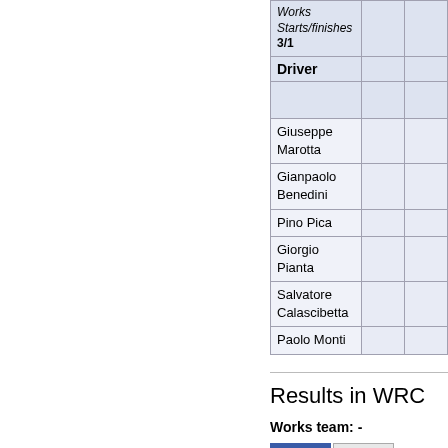| Driver |  |  |
| --- | --- | --- |
| Works
Starts/finishes
3/1 |  |  |
| Driver |  |  |
|  |  |  |
| Giuseppe Marotta |  |  |
| Gianpaolo Benedini |  |  |
| Pino Pica |  |  |
| Giorgio Pianta |  |  |
| Salvatore Calascibetta |  |  |
| Paolo Monti |  |  |
Results in WRC
Works team: -
1970  1971
Season